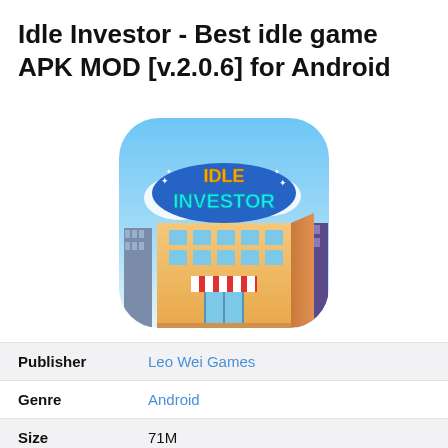Idle Investor - Best idle game APK MOD [v.2.0.6] for Android
[Figure (illustration): App icon for Idle Investor game — a rounded-square icon showing a colorful cartoon building scene with 'IDLE INVESTOR' text logo on a blue banner, city buildings in background, blue sky with clouds.]
|  |  |
| --- | --- |
| Publisher | Leo Wei Games |
| Genre | Android |
| Size | 71M |